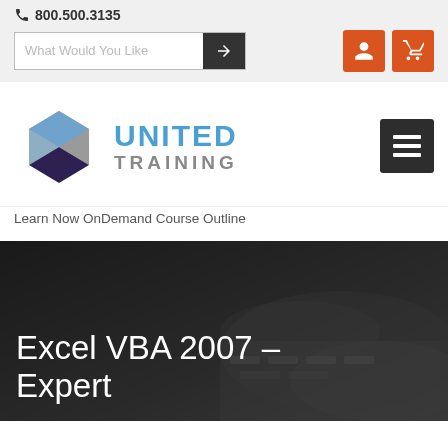800.500.3135
[Figure (screenshot): Search bar with placeholder 'What Would You Like' and an arrow button, plus two orange icon buttons (user and cart)]
[Figure (logo): United Training logo with geometric cube icon and text 'UNITED TRAINING' in blue and grey]
[Figure (other): Dark menu/hamburger button (three horizontal lines)]
Learn Now OnDemand Course Outline
Excel VBA 2007 - Expert